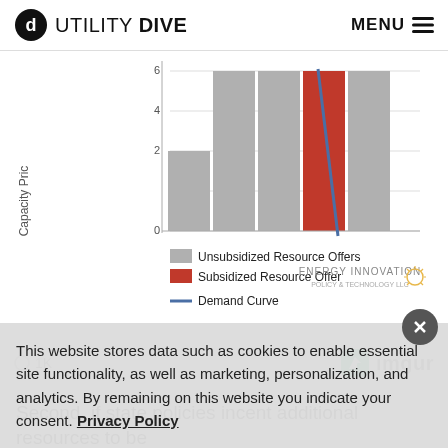UTILITY DIVE  MENU
[Figure (bar-chart): Stacked capacity market supply curve chart showing Unsubsidized Resource Offers (gray), Subsidized Resource Offer (red), and Demand Curve (blue diagonal line). Y-axis shows Capacity Price from 0 to 6.]
Second. if state policies incent additional resources to be
This website stores data such as cookies to enable essential site functionality, as well as marketing, personalization, and analytics. By remaining on this website you indicate your consent. Privacy Policy